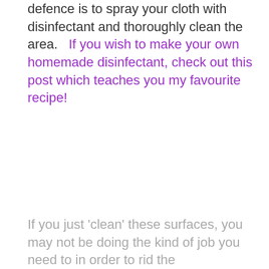defence is to spray your cloth with disinfectant and thoroughly clean the area.   If you wish to make your own homemade disinfectant, check out this post which teaches you my favourite recipe!
If you just 'clean' these surfaces, you may not be doing the kind of job you need to in order to rid the